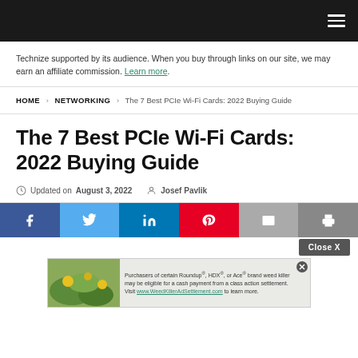Technize (navigation header bar with hamburger menu)
Technize supported by its audience. When you buy through links on our site, we may earn an affiliate commission. Learn more.
HOME > NETWORKING > The 7 Best PCIe Wi-Fi Cards: 2022 Buying Guide
The 7 Best PCIe Wi-Fi Cards: 2022 Buying Guide
Updated on August 3, 2022  Josef Pavlik
[Figure (other): Social sharing buttons: Facebook, Twitter, LinkedIn, Pinterest, Email, Print]
[Figure (other): Close X button overlay]
[Figure (other): Advertisement banner: Purchasers of certain Roundup, HDX, or Ace brand weed killer may be eligible for a cash payment from a class action settlement. Visit www.WeedKillerAdSettlement.com to learn more.]